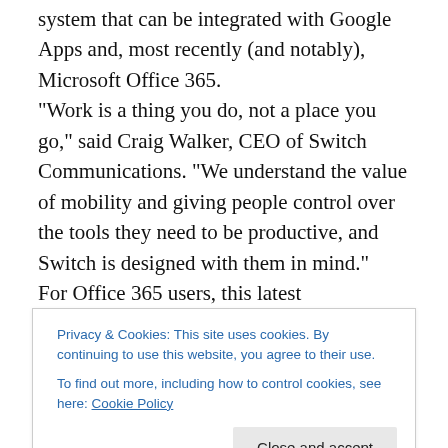system that can be integrated with Google Apps and, most recently (and notably), Microsoft Office 365.
“Work is a thing you do, not a place you go,” said Craig Walker, CEO of Switch Communications. “We understand the value of mobility and giving people control over the tools they need to be productive, and Switch is designed with them in mind.”
For Office 365 users, this latest development by Switch can accelerate employee productivity by integrating with Outlook mail, Outlook calendar and LinkedIn. Users can log in with their Microsoft credentials, have their Outlook
Privacy & Cookies: This site uses cookies. By continuing to use this website, you agree to their use.
To find out more, including how to control cookies, see here: Cookie Policy
Close and accept
Ease of administration is critical for a business of any size.